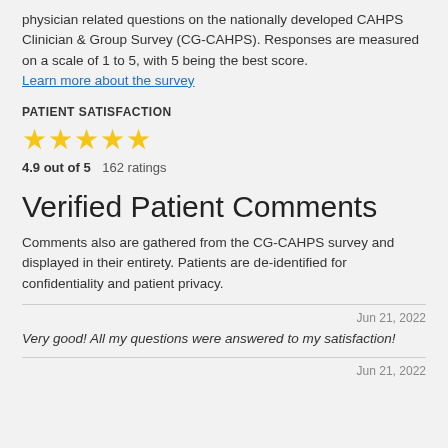physician related questions on the nationally developed CAHPS Clinician & Group Survey (CG-CAHPS). Responses are measured on a scale of 1 to 5, with 5 being the best score. Learn more about the survey
PATIENT SATISFACTION
[Figure (other): 5 gold star rating icons]
4.9 out of 5   162 ratings
Verified Patient Comments
Comments also are gathered from the CG-CAHPS survey and displayed in their entirety. Patients are de-identified for confidentiality and patient privacy.
Jun 21, 2022
Very good! All my questions were answered to my satisfaction!
Jun 21, 2022